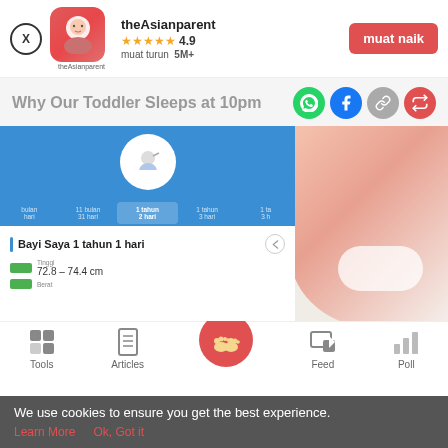[Figure (screenshot): App install banner: theAsianparent app logo, 4.9 star rating, 5M+ downloads, and 'muat naik' button]
Why Our Toddler Sleeps at 10pm
[Figure (screenshot): Screenshot of theAsianparent app showing baby growth tracker with 'Bayi Saya 1 tahun 1 hari' and height 72.8-74.4 cm]
[Figure (screenshot): Bottom navigation bar with Tools, Articles, (center baby feet icon), Feed, Poll tabs]
We use cookies to ensure you get the best experience.
Learn More   Ok, Got it